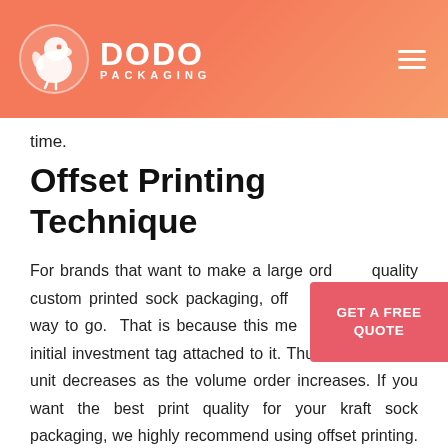DODO PACKAGING
time.
Offset Printing Technique
For brands that want to make a large order of quality custom printed sock packaging, offset printing is the way to go.  That is because this method has a large initial investment tag attached to it. Thus, the cost per unit decreases as the volume order increases. If you want the best print quality for your kraft sock packaging, we highly recommend using offset printing. The printing technique isn't the only option we offer. You can also choose from our color model options. Doing so will allow you to create vibrant sock packaging sleeves that allure potential customers from afar.
GET A FREE QUOTE